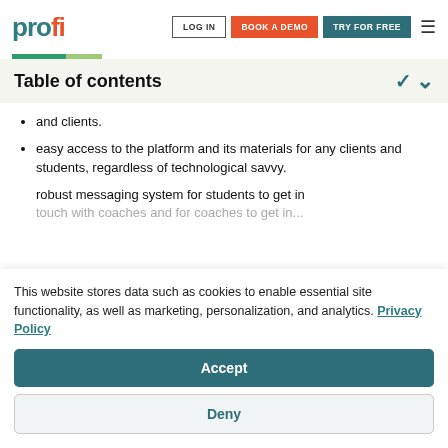profi | LOG IN | BOOK A DEMO | TRY FOR FREE
Table of contents
and clients.
easy access to the platform and its materials for any clients and students, regardless of technological savvy.
robust messaging system for students to get in touch with coaches and for coaches to get in...
This website stores data such as cookies to enable essential site functionality, as well as marketing, personalization, and analytics. Privacy Policy
Accept
Deny